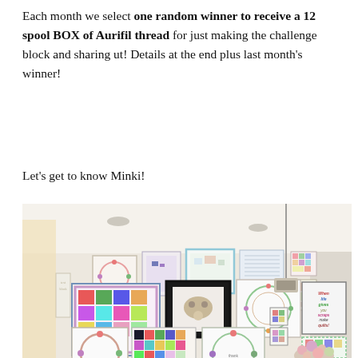Each month we select one random winner to receive a 12 spool BOX of Aurifil thread for just making the challenge block and sharing ut! Details at the end plus last month's winner!
Let's get to know Minki!
[Figure (photo): Interior room with a large gallery wall displaying numerous framed quilts, quilt blocks, and textile art pieces in colorful patterns. A sign reads 'When life gives you scraps make quilts!' Flowers are visible on a table in the foreground, with dining chairs visible at bottom.]